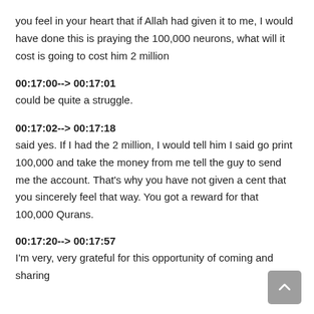you feel in your heart that if Allah had given it to me, I would have done this is praying the 100,000 neurons, what will it cost is going to cost him 2 million
00:17:00--> 00:17:01
could be quite a struggle.
00:17:02--> 00:17:18
said yes. If I had the 2 million, I would tell him I said go print 100,000 and take the money from me tell the guy to send me the account. That's why you have not given a cent that you sincerely feel that way. You got a reward for that 100,000 Qurans.
00:17:20--> 00:17:57
I'm very, very grateful for this opportunity of coming and sharing